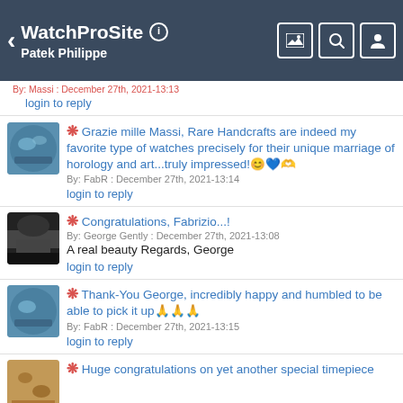WatchProSite — Patek Philippe
By: Massi : December 27th, 2021-13:13
login to reply
❋ Grazie mille Massi, Rare Handcrafts are indeed my favorite type of watches precisely for their unique marriage of horology and art...truly impressed!😊💙🫶
By: FabR : December 27th, 2021-13:14
login to reply
❋ Congratulations, Fabrizio...!
By: George Gently : December 27th, 2021-13:08
A real beauty Regards, George
login to reply
❋ Thank-You George, incredibly happy and humbled to be able to pick it up🙏🙏🙏
By: FabR : December 27th, 2021-13:15
login to reply
❋ Huge congratulations on yet another special timepiece